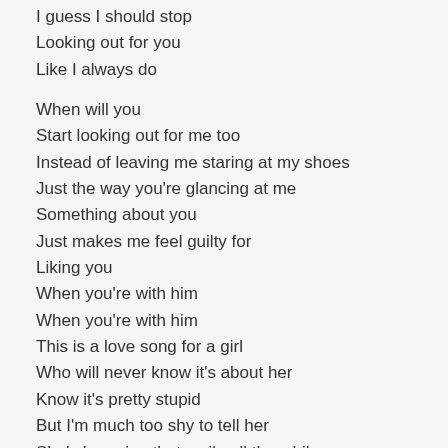I guess I should stop
Looking out for you
Like I always do
When will you
Start looking out for me too
Instead of leaving me staring at my shoes
Just the way you're glancing at me
Something about you
Just makes me feel guilty for
Liking you
When you're with him
When you're with him
This is a love song for a girl
Who will never know it's about her
Know it's pretty stupid
But I'm much too shy to tell her
She's beaming that smile all the while
I'm all tripped up on my own throat